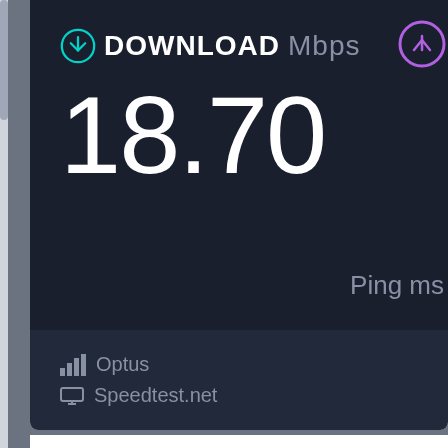[Figure (screenshot): Speedtest.net result screenshot showing DOWNLOAD 18.70 Mbps, ISP: Optus, client: Speedtest.net, with Ping ms label visible. Upload circle partially visible top-right.]
Re: Ultimate Edition 2.2 Work in progress...
by neztiti » Sun Jun 07, 2009 11:29 pm
we wait for it our hero - thank you man